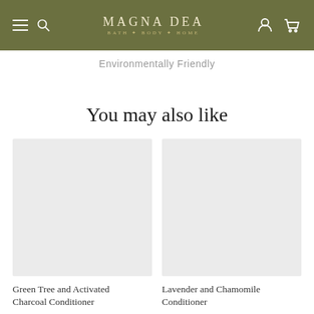MAGNA DEA BATH BODY HOME
Environmentally Friendly
You may also like
[Figure (photo): Product image placeholder for Green Tree and Activated Charcoal Conditioner]
Green Tree and Activated Charcoal Conditioner
[Figure (photo): Product image placeholder for Lavender and Chamomile Conditioner]
Lavender and Chamomile Conditioner